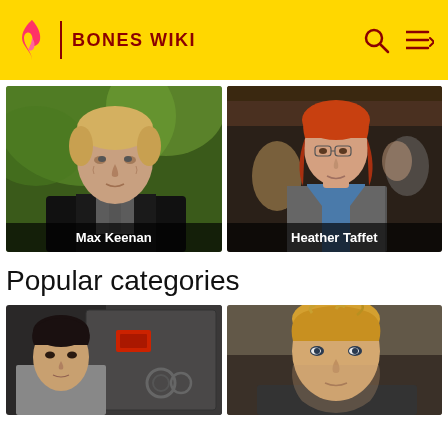BONES WIKI
[Figure (photo): Max Keenan - older man with blonde/grey hair in dark suit, soft green bokeh background]
[Figure (photo): Heather Taffet - red-haired woman in grey blazer over blue shirt, courtroom setting]
Popular categories
[Figure (photo): Dark-haired young man in grey shirt near industrial metal door with red sign]
[Figure (photo): Blonde man with tousled hair, close-up portrait]